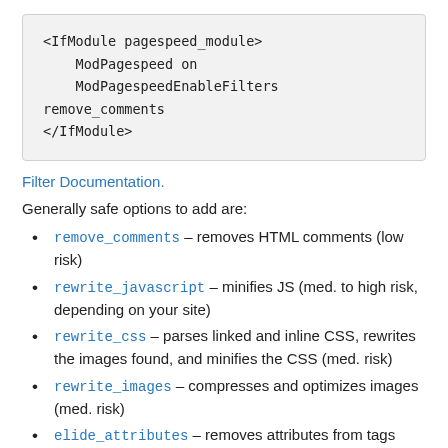[Figure (screenshot): Code block showing Apache mod_pagespeed configuration: <IfModule pagespeed_module>, ModPagespeed on, ModPagespeedEnableFilters remove_comments, </IfModule>]
Filter Documentation.
Generally safe options to add are:
remove_comments – removes HTML comments (low risk)
rewrite_javascript – minifies JS (med. to high risk, depending on your site)
rewrite_css – parses linked and inline CSS, rewrites the images found, and minifies the CSS (med. risk)
rewrite_images – compresses and optimizes images (med. risk)
elide_attributes – removes attributes from tags (med. risk)
move_css_to_head – combines CSS and moves it to the head of your file (low risk)
If you add multiple options, they can be on one line separated by